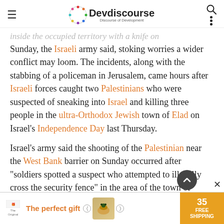Devdiscourse — Discourse of Development
...inside the occupied territory with a knife on Sunday, the Israeli army said, stoking worries a wider conflict may loom. The incidents, along with the stabbing of a policeman in Jerusalem, came hours after Israeli forces caught two Palestinians who were suspected of sneaking into Israel and killing three people in the ultra-Orthodox Jewish town of Elad on Israel's Independence Day last Thursday.

Israel's army said the shooting of the Palestinian near the West Bank barrier on Sunday occurred after "soldiers spotted a suspect who attempted to illegally cross the security fence" in the area of the town of
[Figure (other): Advertisement bar at bottom: 'The perfect gift' with food product images and 'FREE SHIPPING' label]